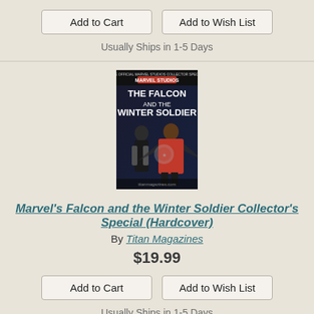Add to Cart   Add to Wish List
Usually Ships in 1-5 Days
[Figure (photo): Book cover for Marvel's Falcon and the Winter Soldier Collector's Special showing the Falcon and Winter Soldier characters in costume against a dark background]
Marvel's Falcon and the Winter Soldier Collector's Special (Hardcover)
By Titan Magazines
$19.99
Add to Cart   Add to Wish List
Usually Ships in 1-5 Days
[Figure (photo): Book cover for The Dungeonmeister Cookbook with a dark fantasy design]